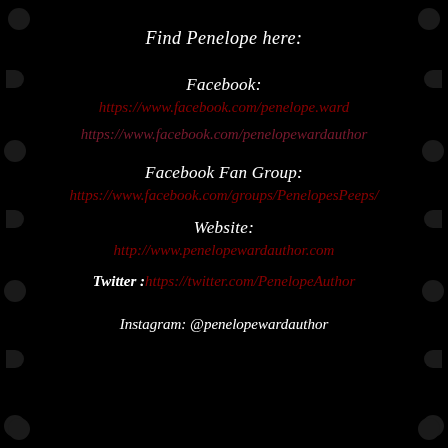Find Penelope here:
Facebook:
https://www.facebook.com/penelope.ward
https://www.facebook.com/penelopewardauthor
Facebook Fan Group:
https://www.facebook.com/groups/PenelopesPeeps/
Website:
http://www.penelopewardauthor.com
Twitter :https://twitter.com/PenelopeAuthor
Instagram: @penelopewardauthor